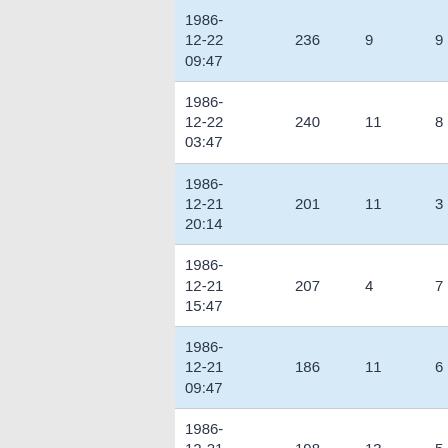| 1986-12-22 09:47 | 236 | 9 | 9 | 11 |
| 1986-12-22 03:47 | 240 | 11 | 8 | 12 |
| 1986-12-21 20:14 | 201 | 11 | 3 | 5 |
| 1986-12-21 15:47 | 207 | 4 | 7 | 8 |
| 1986-12-21 09:47 | 186 | 11 | 6 | 10 |
| 1986-12-21 03:47 | 198 | 13 | 5 | 11 |